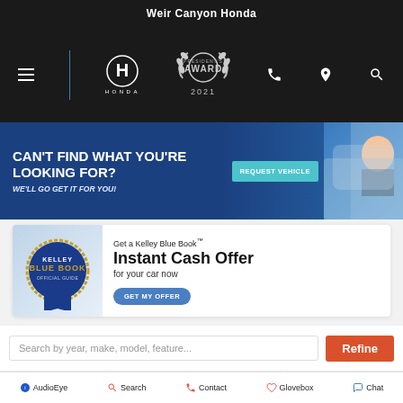Weir Canyon Honda
[Figure (screenshot): Weir Canyon Honda dealership website header with hamburger menu, Honda logo, President's Award 2021 badge, phone, location, and search icons on dark background]
[Figure (screenshot): Banner advertisement: CAN'T FIND WHAT YOU'RE LOOKING FOR? WE'LL GO GET IT FOR YOU! with REQUEST VEHICLE button and woman in car image]
[Figure (screenshot): Kelley Blue Book advertisement: Get a Kelley Blue Book Instant Cash Offer for your car now with GET MY OFFER button]
Search by year, make, model, feature...
Refine
5 New Honda Accord and Accord Sedan
AudioEye  Search  Contact  Glovebox  Chat